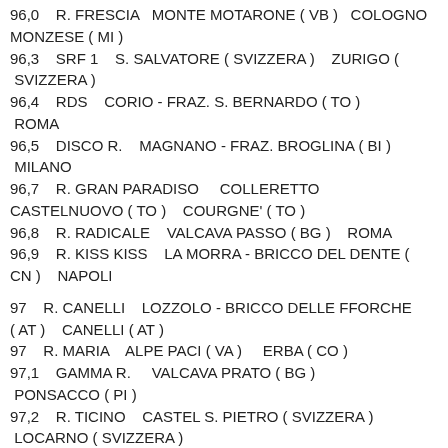96,3    SRF 1    S. SALVATORE ( SVIZZERA )    ZURIGO ( SVIZZERA )
96,4    RDS    CORIO - FRAZ. S. BERNARDO ( TO )  ROMA
96,5    DISCO R.    MAGNANO - FRAZ. BROGLINA ( BI )  MILANO
96,7    R. GRAN PARADISO    COLLERETTO CASTELNUOVO ( TO )    COURGNE' ( TO )
96,8    R. RADICALE    VALCAVA PASSO ( BG )    ROMA
96,9    R. KISS KISS    LA MORRA - BRICCO DEL DENTE ( CN )    NAPOLI
97    R. CANELLI    LOZZOLO - BRICCO DELLE FFORCHE ( AT )    CANELLI ( AT )
97    R. MARIA    ALPE PACI ( VA )    ERBA ( CO )
97,1    GAMMA R.    VALCAVA PRATO ( BG )  PONSACCO ( PI )
97,2    R. TICINO    CASTEL S. PIETRO ( SVIZZERA )  LOCARNO ( SVIZZERA )
97,3    R. CAPITAL    ANDRATE - CROCE SERRA ( TO )  ROMA